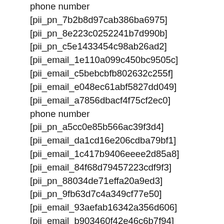phone number
[pii_pn_7b2b8d97cab386ba6975]
[pii_pn_8e223c0252241b7d990b]
[pii_pn_c5e1433454c98ab26ad2]
[pii_email_1e110a099c450bc9505c]
[pii_email_c5bebcbfb802632c255f]
[pii_email_e048ec61abf5827dd049]
[pii_email_a7856dbacf4f75cf2ec0]
phone number
[pii_pn_a5cc0e85b566ac39f3d4]
[pii_email_da1cd16e206cdba79bf1]
[pii_email_1c417b9406eeee2d85a8]
[pii_email_84f68d79457223cdf9f3]
[pii_pn_88034de71effa20a9ed3]
[pii_pn_9fb63d7c4a349cf77e50]
[pii_email_93aefab16342a356d606]
[pii_email_b903460f42e46c6b7f94]